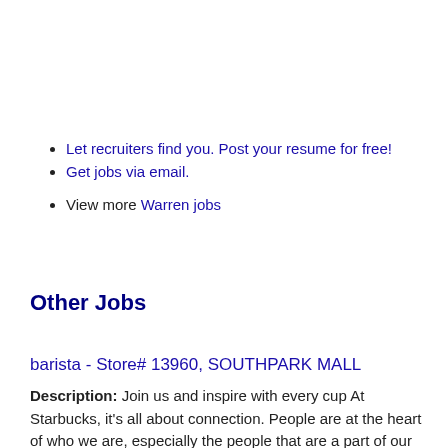Let recruiters find you. Post your resume for free!
Get jobs via email.
View more Warren jobs
Other Jobs
barista - Store# 13960, SOUTHPARK MALL
Description: Join us and inspire with every cup At Starbucks, it's all about connection. People are at the heart of who we are, especially the people that are a part of our store team. We connect with each other (more...)